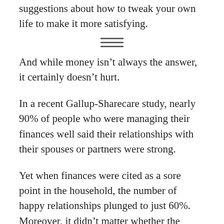suggestions about how to tweak your own life to make it more satisfying.
[Figure (other): Three horizontal lines separator / menu icon]
And while money isn’t always the answer, it certainly doesn’t hurt.
In a recent Gallup-Sharecare study, nearly 90% of people who were managing their finances well said their relationships with their spouses or partners were strong.
Yet when finances were cited as a sore point in the household, the number of happy relationships plunged to just 60%. Moreover, it didn’t matter whether the couples were affluent or not...
Money troubles create relationship troubles